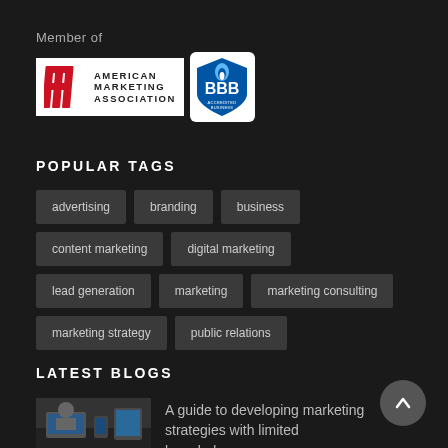Member of
[Figure (logo): American Marketing Association logo and BBB Accredited Business logo side by side on white background]
POPULAR TAGS
advertising
branding
business
content marketing
digital marketing
lead generation
marketing
marketing consulting
marketing strategy
public relations
LATEST BLOGS
[Figure (photo): Thumbnail image of people working with tech devices on a desk]
A guide to developing marketing strategies with limited knowledge